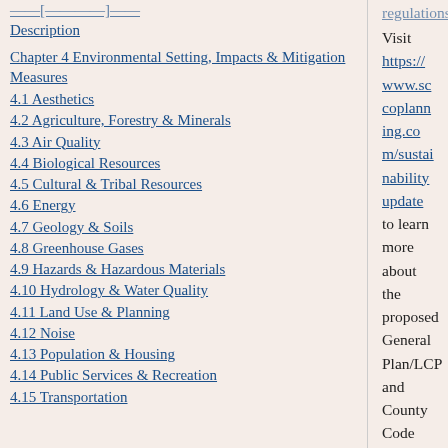Description
Chapter 4 Environmental Setting, Impacts & Mitigation Measures
4.1 Aesthetics
4.2 Agriculture, Forestry & Minerals
4.3 Air Quality
4.4 Biological Resources
4.5 Cultural & Tribal Resources
4.6 Energy
4.7 Geology & Soils
4.8 Greenhouse Gases
4.9 Hazards & Hazardous Materials
4.10 Hydrology & Water Quality
4.11 Land Use & Planning
4.12 Noise
4.13 Population & Housing
4.14 Public Services & Recreation
4.15 Transportation
Visit https://www.sccoplanning.com/sustainabilityupdate to learn more about the proposed General Plan/LCP and County Code amendments and timeline for the project.